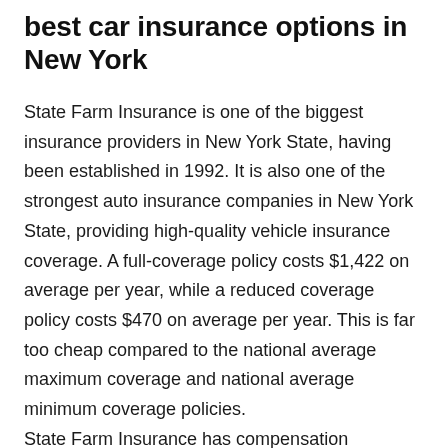best car insurance options in New York
State Farm Insurance is one of the biggest insurance providers in New York State, having been established in 1992. It is also one of the strongest auto insurance companies in New York State, providing high-quality vehicle insurance coverage. A full-coverage policy costs $1,422 on average per year, while a reduced coverage policy costs $470 on average per year. This is far too cheap compared to the national average maximum coverage and national average minimum coverage policies.
State Farm Insurance has compensation opportunities such as emergency roadside help, rental vehicle reimbursement, rideshare coverage, ambulance payments, and uninsured motorist coverage. It offers discounts such as a decent college discount, a senior citizen discount, a defensive